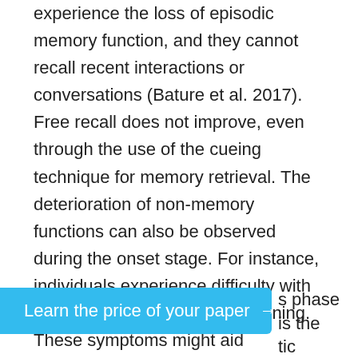experience the loss of episodic memory function, and they cannot recall recent interactions or conversations (Bature et al. 2017). Free recall does not improve, even through the use of the cueing technique for memory retrieval. The deterioration of non-memory functions can also be observed during the onset stage. For instance, individuals experience difficulty with vision, word-finding, and reasoning. These symptoms might aid physicians in the diagnosis of mild cognitive impairment. This stage is followed by the gradual degeneration of other cognitive functions that are necessary for independent operations (Bature et al. 2017). This decline is a defining characteristic of the dementia phase of Alzheimer's in which patients become
s phase is the tic criteria that